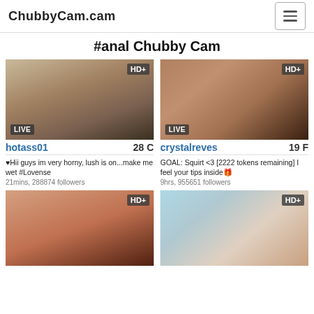ChubbyCam.cam
#anal Chubby Cam
[Figure (photo): Live cam thumbnail for hotass01, HD+, LIVE badge]
hotass01   28 C
♥Hii guys im very horny, lush is on...make me wet #Lovense
21mins, 288874 followers
[Figure (photo): Live cam thumbnail for crystalreves, HD+, LIVE badge]
crystalreves   19 F
GOAL: Squirt <3 [2222 tokens remaining] I feel your tips inside🎁
9hrs, 955651 followers
[Figure (photo): Live cam thumbnail bottom left, HD+ badge]
[Figure (photo): Live cam thumbnail bottom right, HD+ badge]